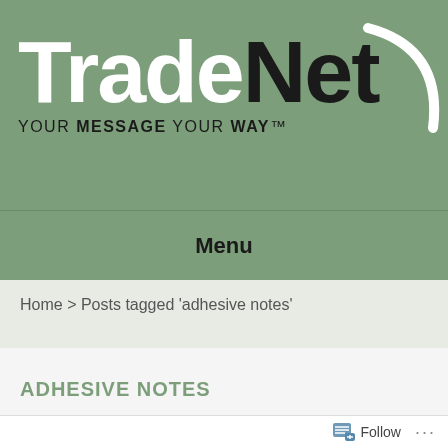[Figure (logo): TradeNet logo with swoosh graphic. White 'Trade' text and black 'Net' text on sage green background, with tagline 'YOUR MESSAGE YOUR WAY' below.]
Menu
Home > Posts tagged 'adhesive notes'
ADHESIVE NOTES
Follow ...